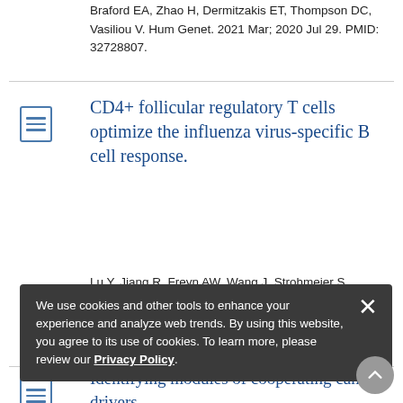Braford EA, Zhao H, Dermitzakis ET, Thompson DC, Vasiliou V. Hum Genet. 2021 Mar; 2020 Jul 29. PMID: 32728807.
CD4+ follicular regulatory T cells optimize the influenza virus-specific B cell response.
Lu Y, Jiang R, Freyn AW, Wang J, Strohmeier S, Lederer K, Locci M, Zhao H, Angeletti D, O'Connor KC, Kleinstein SH, Nachbagauer R, Craft J. J Exp Med. 2021 Mar 1. PMID: 33326020.
We use cookies and other tools to enhance your experience and analyze web trends. By using this website, you agree to its use of cookies. To learn more, please review our Privacy Policy.
Identifying modules of cooperating cancer drivers.
...end JP, Newman S, Stern DF, Zhao H. Mol Syst Biol. 2021 Mar. PMID: 33769711.